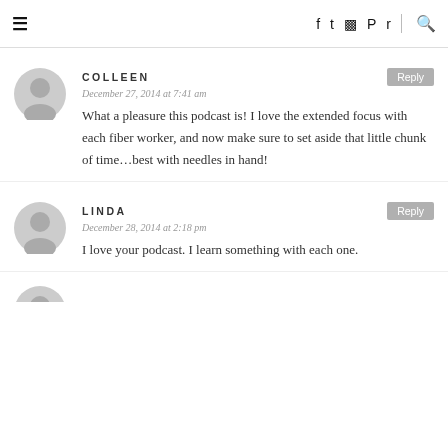≡  f  ✦  ◻  ◻  ✦  🔍
COLLEEN
December 27, 2014 at 7:41 am
What a pleasure this podcast is! I love the extended focus with each fiber worker, and now make sure to set aside that little chunk of time…best with needles in hand!
LINDA
December 28, 2014 at 2:18 pm
I love your podcast. I learn something with each one.